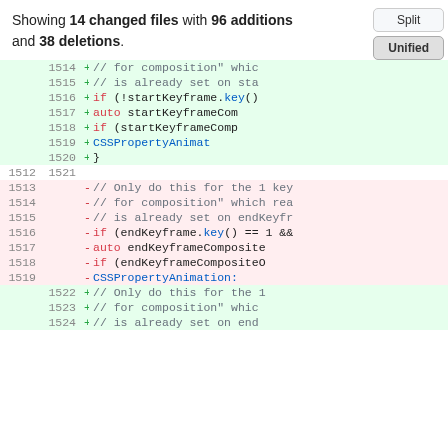Showing 14 changed files with 96 additions and 38 deletions.
[Figure (screenshot): Code diff view with Split and Unified toggle buttons showing added lines (green) and removed lines (red) with line numbers and code content]
| old ln | new ln | op | code |
| --- | --- | --- | --- |
|  | 1514 | + | // for composition" whic |
|  | 1515 | + | // is already set on sta |
|  | 1516 | + | if (!startKeyframe.key() |
|  | 1517 | + | auto startKeyframeCom |
|  | 1518 | + | if (startKeyframeComp |
|  | 1519 | + | CSSPropertyAnimat |
|  | 1520 | + | } |
| 1512 | 1521 |  |  |
| 1513 |  | - | // Only do this for the 1 key |
| 1514 |  | - | // for composition" which rea |
| 1515 |  | - | // is already set on endKeyfr |
| 1516 |  | - | if (endKeyframe.key() == 1 && |
| 1517 |  | - | auto endKeyframeComposite |
| 1518 |  | - | if (endKeyframeCompositeO |
| 1519 |  | - | CSSPropertyAnimation: |
|  | 1522 | + | // Only do this for the 1 |
|  | 1523 | + | // for composition" whic |
|  | 1524 | + | // is already set on end |